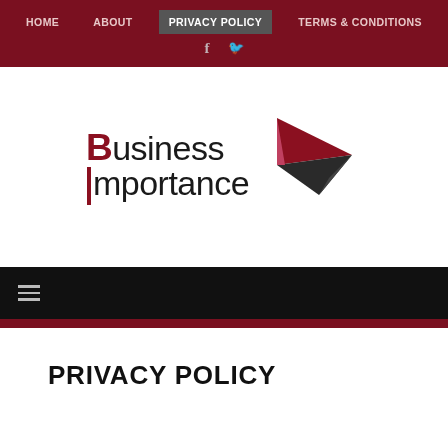HOME  ABOUT  PRIVACY POLICY  TERMS & CONDITIONS
[Figure (logo): Business Importance logo with red arrow graphic]
Hamburger menu icon
PRIVACY POLICY